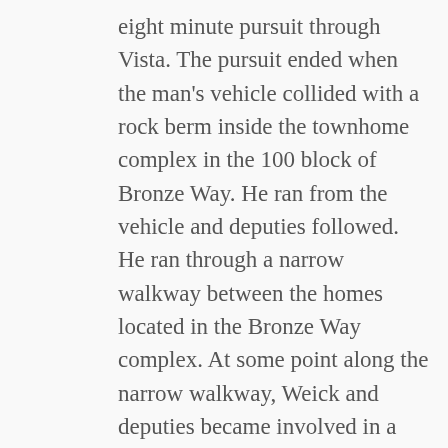eight minute pursuit through Vista. The pursuit ended when the man's vehicle collided with a rock berm inside the townhome complex in the 100 block of Bronze Way. He ran from the vehicle and deputies followed. He ran through a narrow walkway between the homes located in the Bronze Way complex. At some point along the narrow walkway, Weick and deputies became involved in a confrontation. During that confrontation, two deputies fired multiple rounds, striking the man several times. Deputies were able to take him into custody, provide first aid and call for paramedics. When he was taken into custody, he was in possession of multiple knives and several rounds of shotgun ammunition.